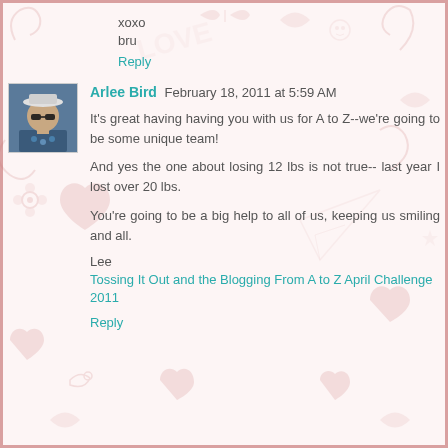xoxo
bru
Reply
Arlee Bird  February 18, 2011 at 5:59 AM
It's great having having you with us for A to Z--we're going to be some unique team!

And yes the one about losing 12 lbs is not true-- last year I lost over 20 lbs.

You're going to be a big help to all of us, keeping us smiling and all.
Lee
Tossing It Out and the Blogging From A to Z April Challenge 2011
Reply